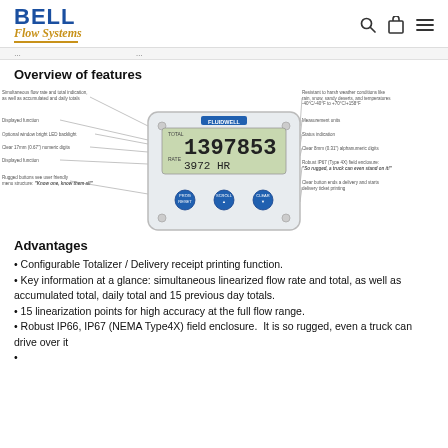BELL Flow Systems
Overview of features
[Figure (engineering-diagram): Annotated diagram of a FLUIDWELL flow meter/totalizer display unit showing features: Simultaneous flow rate and total indication as well as accumulated and daily totals, Displayed function, Optional window bright LED backlight, Clear 17mm (0.67") numeric digits, Displayed function, Rugged buttons see user friendly menu structure 'Know one, know them all', Resistant to harsh weather conditions like rain, snow, sandy deserts and temperatures -40°C/-40°F to +70°C/+158°F, Measurement units, Status indication, Clear 8mm (0.31") alphanumeric digits, Robust IP67 (Type 4X) field enclosure 'So rugged, a truck can even stand on it!', Clear button ends a delivery and starts delivery ticket printing. Display shows 1397853 and 3972 HR.]
Advantages
Configurable Totalizer / Delivery receipt printing function.
Key information at a glance: simultaneous linearized flow rate and total, as well as accumulated total, daily total and 15 previous day totals.
15 linearization points for high accuracy at the full flow range.
Robust IP66, IP67 (NEMA Type4X) field enclosure.  It is so rugged, even a truck can drive over it
...